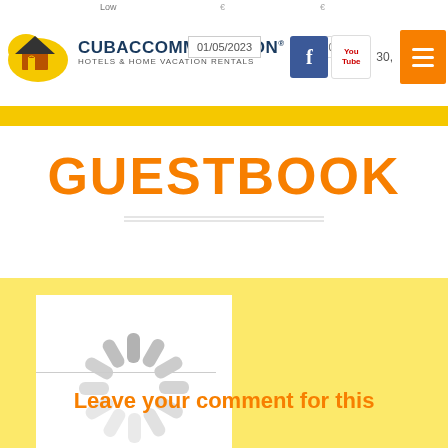CubaAccommodation Hotels & Home Vacation Rentals — Low | 01/05/2023 | 31/10/2023 | € | € 30, | Facebook | YouTube | Menu
GUESTBOOK
[Figure (illustration): Loading spinner / activity indicator with radiating grey dashes arranged in a circle on a white square background]
Leave your comment for this